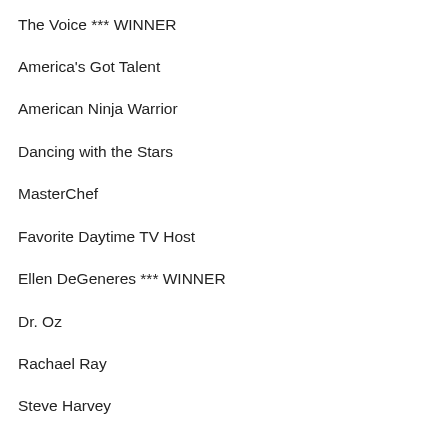The Voice *** WINNER
America's Got Talent
American Ninja Warrior
Dancing with the Stars
MasterChef
Favorite Daytime TV Host
Ellen DeGeneres *** WINNER
Dr. Oz
Rachael Ray
Steve Harvey